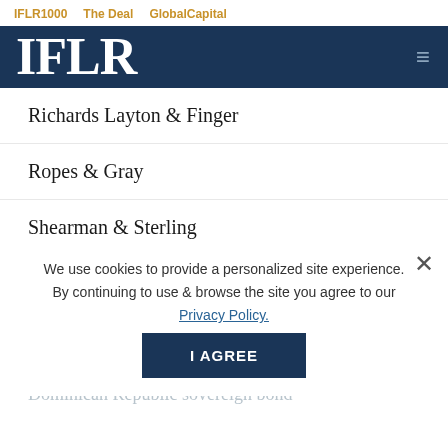IFLR1000   The Deal   GlobalCapital
IFLR
Richards Layton & Finger
Ropes & Gray
Shearman & Sterling
Sullivan & Cromwell
Coca-Cola FEMSA sustainability-linked notes
Galicia Abogados
Dominican Republic sovereign bond
We use cookies to provide a personalized site experience. By continuing to use & browse the site you agree to our Privacy Policy.